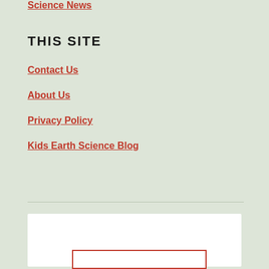Science News
THIS SITE
Contact Us
About Us
Privacy Policy
Kids Earth Science Blog
[Figure (other): White content box with red outlined inner box at the bottom, likely an advertisement or embedded widget area]